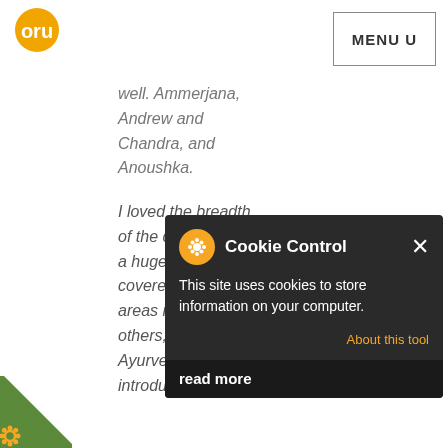oru | MENU U
well. Ammerjana, Andrew and Chandra, and Anoushka.
I loved the breadth of the course, what a huge area was covered! Some areas in depth and others, for example, Ayurveda are introduced and
I also appreciated the beautiful blocks of events, for example for the Adhikari Namaskar
[Figure (screenshot): Cookie Control popup dialog with orange gear icon, title 'Cookie Control', close X button, body text 'This site uses cookies to store information on your computer.', 'About this tool' link in orange, and 'read more' button at bottom left on dark background.]